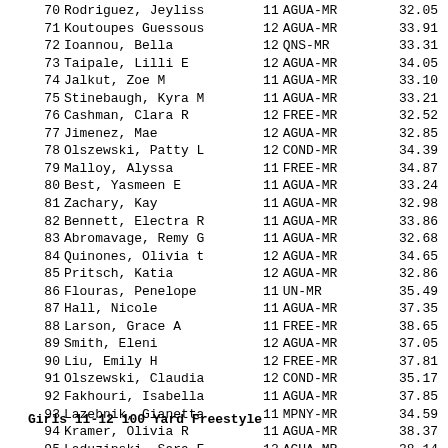| Rank | Name | Age | Team | Time |
| --- | --- | --- | --- | --- |
| 70 | Rodriguez, Jeyliss | 11 | AGUA-MR | 32.05 |
| 71 | Koutoupes Guessous | 12 | AGUA-MR | 33.91 |
| 72 | Ioannou, Bella | 12 | QNS-MR | 33.31 |
| 73 | Taipale, Lilli E | 12 | AGUA-MR | 34.05 |
| 74 | Jalkut, Zoe M | 11 | AGUA-MR | 33.10 |
| 75 | Stinebaugh, Kyra M | 11 | AGUA-MR | 33.21 |
| 76 | Cashman, Clara R | 12 | FREE-MR | 32.52 |
| 77 | Jimenez, Mae | 12 | AGUA-MR | 32.85 |
| 78 | Olszewski, Patty L | 12 | COND-MR | 34.39 |
| 79 | Malloy, Alyssa | 11 | FREE-MR | 34.87 |
| 80 | Best, Yasmeen E | 11 | AGUA-MR | 33.24 |
| 81 | Zachary, Kay | 11 | AGUA-MR | 32.98 |
| 82 | Bennett, Electra R | 11 | AGUA-MR | 33.86 |
| 83 | Abromavage, Remy G | 11 | AGUA-MR | 32.68 |
| 84 | Quinones, Olivia t | 12 | AGUA-MR | 34.65 |
| 85 | Pritsch, Katia | 12 | AGUA-MR | 32.86 |
| 86 | Flouras, Penelope | 11 | UN-MR | 35.49 |
| 87 | Hall, Nicole | 11 | AGUA-MR | 37.35 |
| 88 | Larson, Grace A | 11 | FREE-MR | 38.65 |
| 89 | Smith, Eleni | 12 | AGUA-MR | 37.05 |
| 90 | Liu, Emily H | 12 | FREE-MR | 37.81 |
| 91 | Olszewski, Claudia | 12 | COND-MR | 35.17 |
| 92 | Fakhouri, Isabella | 11 | AGUA-MR | 37.85 |
| 93 | Lazebnik, Gianetta | 11 | MPNY-MR | 34.59 |
| 94 | Kramer, Olivia R | 11 | AGUA-MR | 38.37 |
| 95 | Laduzinski, Sara F | 12 | AGUA-MR | 38.14 |
| -- | Sibbern, Natascha | 11 | AGUA-MR | 33.33 |
|  | False start |  |  |  |
Girls 11-12 100 Yard Freestyle